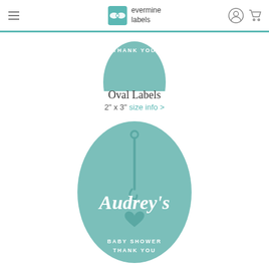evermine labels
[Figure (illustration): Partial teal oval label at top showing 'THANK YOU' text in white]
Oval Labels
2" x 3" size info >
[Figure (illustration): Full teal oval baby shower label with safety pin icon, cursive 'Audrey's' text, heart, and 'BABY SHOWER THANK YOU' text in white]